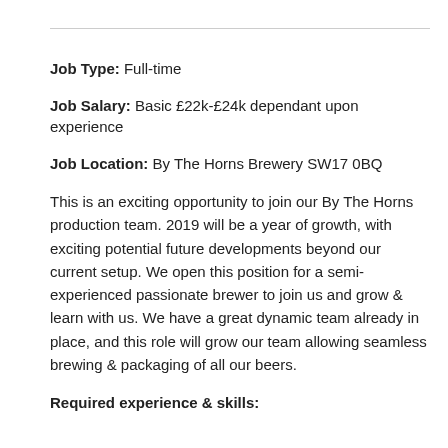Job Type: Full-time
Job Salary: Basic £22k-£24k dependant upon experience
Job Location: By The Horns Brewery SW17 0BQ
This is an exciting opportunity to join our By The Horns production team. 2019 will be a year of growth, with exciting potential future developments beyond our current setup. We open this position for a semi-experienced passionate brewer to join us and grow & learn with us. We have a great dynamic team already in place, and this role will grow our team allowing seamless brewing & packaging of all our beers.
Required experience & skills: